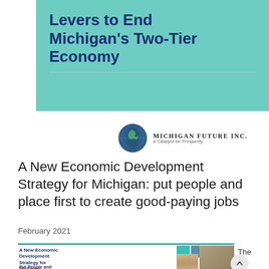[Figure (illustration): Teal/green banner with bold dark blue text reading partial title 'Levers to End Michigan's Two-Tier Economy' with horizontal divider line]
[Figure (logo): Michigan Future Inc. logo showing a globe with Michigan shape, text 'Michigan Future Inc. A Catalyst for Prosperity']
A New Economic Development Strategy for Michigan: put people and place first to create good-paying jobs
February 2021
[Figure (screenshot): Bottom preview showing cover of 'A New Economic Development Strategy for Michigan: Put People and' with photos of a person and cyclists, teal color blocks]
The